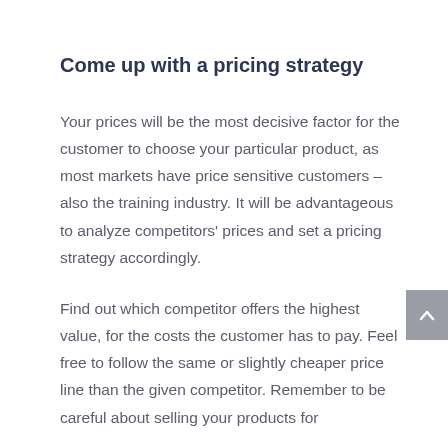Come up with a pricing strategy
Your prices will be the most decisive factor for the customer to choose your particular product, as most markets have price sensitive customers – also the training industry. It will be advantageous to analyze competitors' prices and set a pricing strategy accordingly.
Find out which competitor offers the highest value, for the costs the customer has to pay. Feel free to follow the same or slightly cheaper price line than the given competitor. Remember to be careful about selling your products for